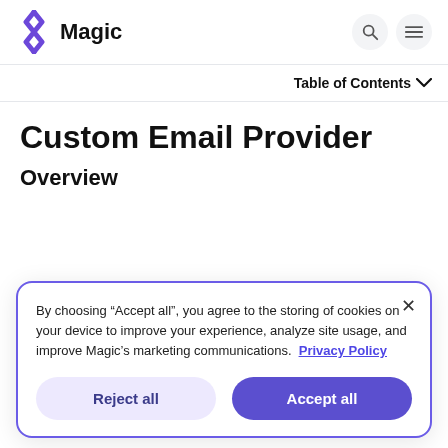Magic
Table of Contents
Custom Email Provider
Overview
By choosing “Accept all”, you agree to the storing of cookies on your device to improve your experience, analyze site usage, and improve Magic’s marketing communications. Privacy Policy
Reject all | Accept all